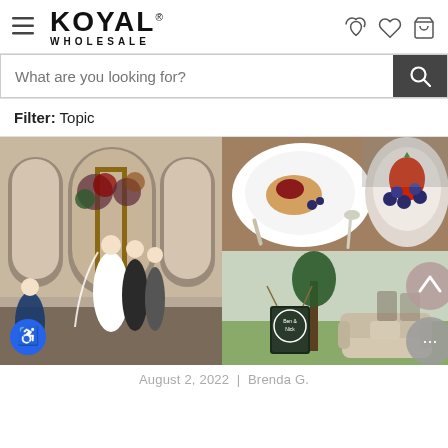[Figure (screenshot): Koyal Wholesale website header with hamburger menu, logo, and icons for phone, heart, and cart]
[Figure (screenshot): Search bar with placeholder text 'What are you looking for?' and dark search button]
Filter: Topic
[Figure (photo): Wedding ceremony photo showing bride and groom under floral arch with arched windows in background]
[Figure (photo): Food styling photo showing scone with jam on white plate, spoon, and bowl of blueberries]
[Figure (photo): Outdoor event setup with chalkboard sign, trees, and beige sofa on grass]
August 2, 2022 | Brenda G.